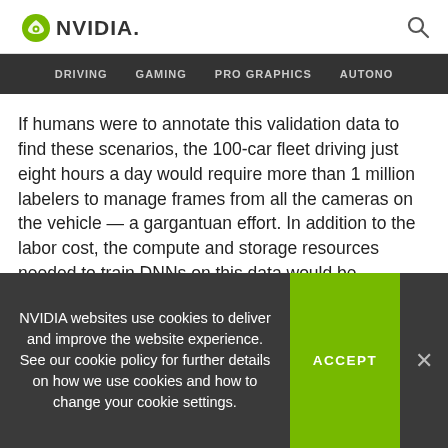NVIDIA
DRIVING  GAMING  PRO GRAPHICS  AUTONO
If humans were to annotate this validation data to find these scenarios, the 100-car fleet driving just eight hours a day would require more than 1 million labelers to manage frames from all the cameras on the vehicle — a gargantuan effort. In addition to the labor cost, the compute and storage resources needed to train DNNs on this data would be infeasible.
The combination of data annotation and curation poses…
NVIDIA websites use cookies to deliver and improve the website experience. See our cookie policy for further details on how we use cookies and how to change your cookie settings.
ACCEPT